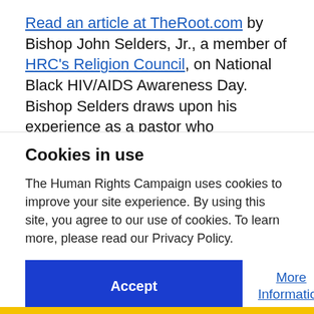Read an article at TheRoot.com by Bishop John Selders, Jr., a member of HRC's Religion Council, on National Black HIV/AIDS Awareness Day. Bishop Selders draws upon his experience as a pastor who
Cookies in use
The Human Rights Campaign uses cookies to improve your site experience. By using this site, you agree to our use of cookies. To learn more, please read our Privacy Policy.
Accept
More Information